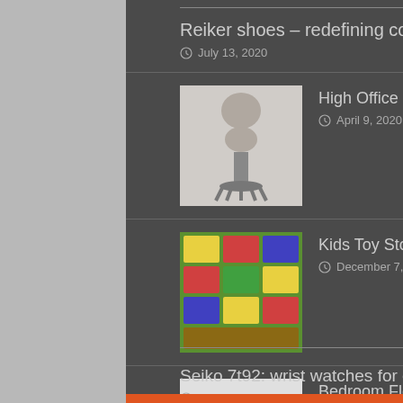Reiker shoes – redefining comfort
July 13, 2020
High Office Chair
April 9, 2020
Kids Toy Storage
December 7, 2019
Bedroom Flooring
November 25, 2019
Toddler Furniture
March 13, 2020
Seiko 7t92: wrist watches for comfort
July 13, 2020